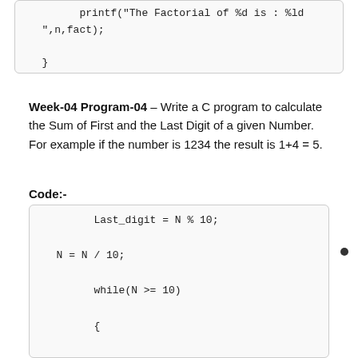[Figure (screenshot): Code snippet showing printf statement and closing brace: printf("The Factorial of %d is : %ld ",n,fact); }]
Week-04 Program-04 – Write a C program to calculate the Sum of First and the Last Digit of a given Number. For example if the number is 1234 the result is 1+4 = 5.
Code:-
[Figure (screenshot): Code snippet showing: Last_digit = N % 10; N = N / 10; while(N >= 10) { N = N / 10; }]